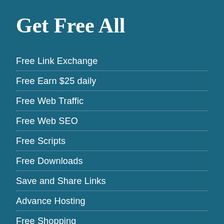Get Free All
Free Link Exchange
Free Earn $25 daily
Free Web Traffic
Free Web SEO
Free Scripts
Free Downloads
Save and Share Links
Advance Hosting
Free Shopping